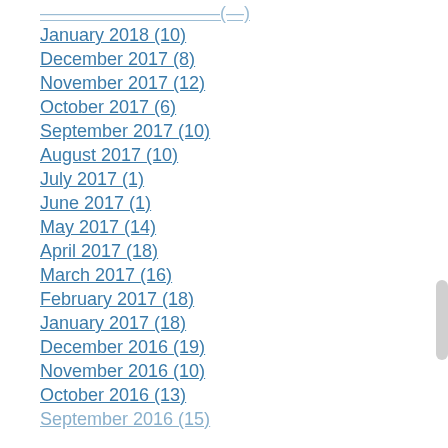January 2018 (10)
December 2017 (8)
November 2017 (12)
October 2017 (6)
September 2017 (10)
August 2017 (10)
July 2017 (1)
June 2017 (1)
May 2017 (14)
April 2017 (18)
March 2017 (16)
February 2017 (18)
January 2017 (18)
December 2016 (19)
November 2016 (10)
October 2016 (13)
September 2016 (15)